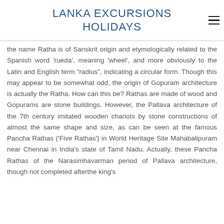LANKA EXCURSIONS HOLIDAYS
the name Ratha is of Sanskrit origin and etymologically related to the Spanish word 'rueda', meaning 'wheel', and more obviously to the Latin and English term "radius", indicating a circular form. Though this may appear to be somewhat odd, the origin of Gopuram architecture is actually the Ratha. How can this be? Rathas are made of wood and Gopurams are stone buildings. However, the Pallava architecture of the 7th century imitated wooden chariots by stone constructions of almost the same shape and size, as can be seen at the famous Pancha Rathas ('Five Rathas') in World Heritage Site Mahabalipuram near Chennai in India's state of Tamil Nadu. Actually, these Pancha Rathas of the Narasimhavarman period of Pallava architecture, though not completed afterthe king's